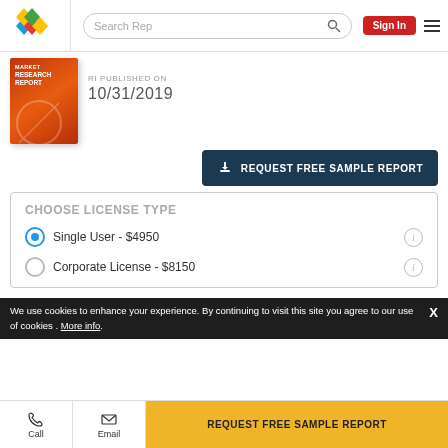[Figure (screenshot): Website navigation bar with diamond logo, search box, Sign In button, and hamburger menu]
[Figure (photo): Market Research Report cover image in orange/red]
RI PUBLISHED ON
10/31/2019
REQUEST FREE SAMPLE REPORT
CHOOSE LICENSE TYPE
Single User - $4950
Corporate License - $8150
We use cookies to enhance your experience. By continuing to visit this site you agree to our use of cookies . More info.
Call
Email
REQUEST FREE SAMPLE REPORT